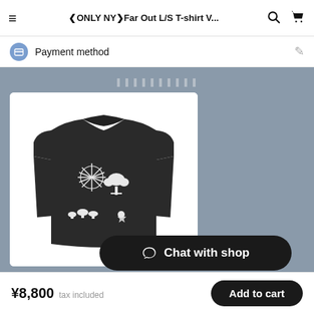≡  ❮ONLY NY❯Far Out L/S T-shirt V...  🔍  🛒
Payment method
❮❮❮❮❮❮❮❮❮❮
[Figure (photo): Dark charcoal long sleeve t-shirt with white graphic prints featuring sun/starburst, bonsai tree, mushrooms, and other nature motifs]
❮ONLY NY❯Fa
¥8,800
💬 Chat with shop
¥8,800 tax included
Add to cart